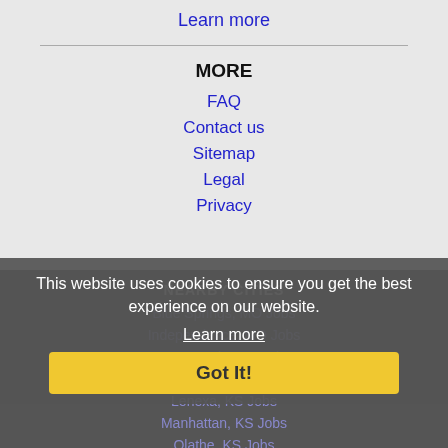Learn more
MORE
FAQ
Contact us
Sitemap
Legal
Privacy
NEARBY CITIES
Blue Springs, MO Jobs
Independence, MO Jobs
Kansas City, KS Jobs
Lee's Summit, MO Jobs
Lenexa, KS Jobs
Manhattan, KS Jobs
Olathe, KS Jobs
This website uses cookies to ensure you get the best experience on our website.
Learn more
Got It!